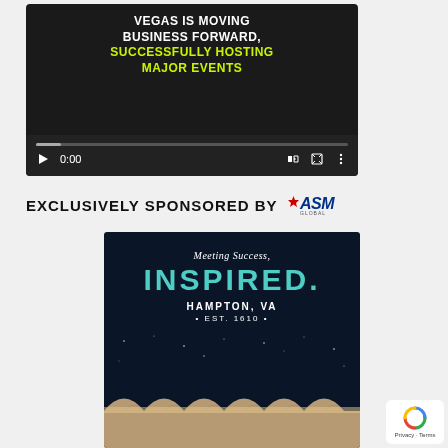[Figure (screenshot): Video player with dark background showing text: 'VEGAS IS MOVING BUSINESS FORWARD, SUCCESSFULLY HOSTING MAJOR EVENTS' with video controls showing 0:00 timestamp and progress bar]
EXCLUSIVELY SPONSORED BY ASM GLOBAL
[Figure (illustration): Advertisement for Hampton, VA showing 'Meeting Success, INSPIRED. HAMPTON, VA • EST. 1610 •' on a dark night sky background with illuminated building structure below]
Privacy - Terms